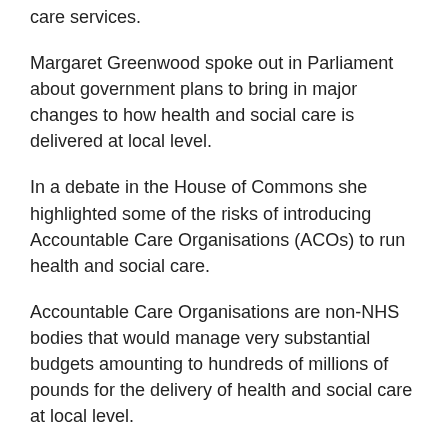care services.
Margaret Greenwood spoke out in Parliament about government plans to bring in major changes to how health and social care is delivered at local level.
In a debate in the House of Commons she highlighted some of the risks of introducing Accountable Care Organisations (ACOs) to run health and social care.
Accountable Care Organisations are non-NHS bodies that would manage very substantial budgets amounting to hundreds of millions of pounds for the delivery of health and social care at local level.
There are plans for an Accountable Care System (ACS) to be introduced in Wirral this April, and, if it goes ahead, this would be finalised by April 2019. Once an ACS is set up, it could be turned into an ACO. Both entities are also sometimes referred to as ‘place-based care’.
Margaret Greenwood raised concerns that ACOs might be run by private providers, rather than publically open and